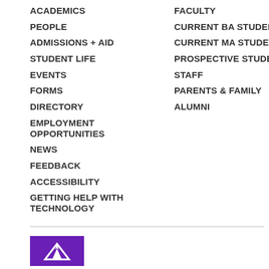ACADEMICS
PEOPLE
ADMISSIONS + AID
STUDENT LIFE
EVENTS
FORMS
DIRECTORY
EMPLOYMENT OPPORTUNITIES
NEWS
FEEDBACK
ACCESSIBILITY
GETTING HELP WITH TECHNOLOGY
FACULTY
CURRENT BA STUDENTS
CURRENT MA STUDENTS
PROSPECTIVE STUDENTS
STAFF
PARENTS & FAMILY
ALUMNI
[Figure (logo): Purple university logo with mountain/flame icon]